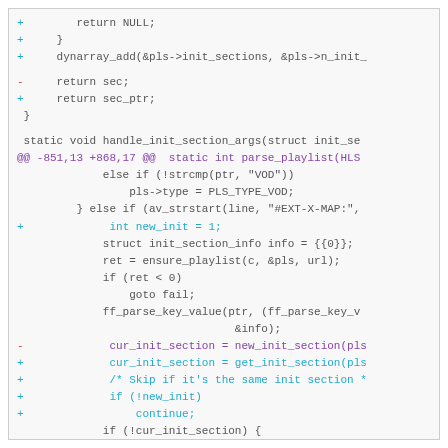[Figure (screenshot): Code diff view showing C source code changes. Lines with '+' prefix shown in cyan/teal, lines with '-' prefix in red, context lines in dark gray, hunk headers in purple. Code includes function handle_init_section_args, parse_playlist, and related logic for HLS playlist handling.]